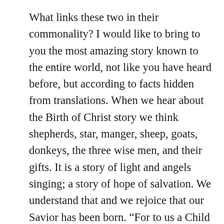What links these two in their commonality? I would like to bring to you the most amazing story known to the entire world, not like you have heard before, but according to facts hidden from translations. When we hear about the Birth of Christ story we think shepherds, star, manger, sheep, goats, donkeys, the three wise men, and their gifts. It is a story of light and angels singing; a story of hope of salvation. We understand that and we rejoice that our Savior has been born. “For to us a Child is born, to us a Son is given; and the government shall be upon His shoulder, and His name shall be called Wonderful, Counselor, Mighty God, Everlasting Father, Prince of Peace” (Isaiah 9:6). However, there are specific insights